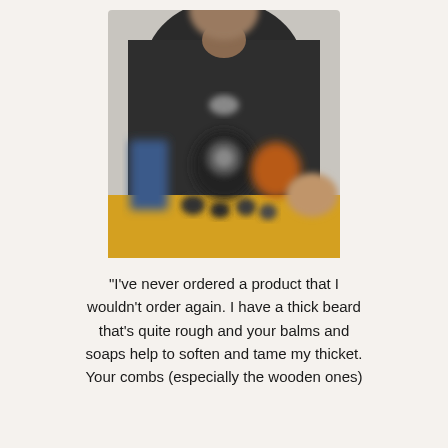[Figure (photo): A man in a dark shirt holding or displaying beard care products including balms, soaps, and combs on a yellow surface. The image is blurred/soft focus.]
"I've never ordered a product that I wouldn't order again. I have a thick beard that's quite rough and your balms and soaps help to soften and tame my thicket. Your combs (especially the wooden ones)